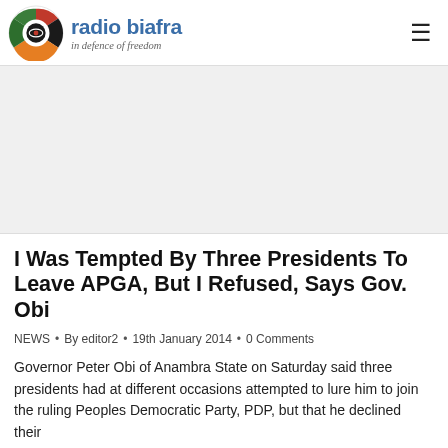radio biafra — in defence of freedom
[Figure (illustration): Radio Biafra circular logo with red, green, black and orange segments and a stylized bird/eye design]
I Was Tempted By Three Presidents To Leave APGA, But I Refused, Says Gov. Obi
NEWS • By editor2 • 19th January 2014 • 0 Comments
Governor Peter Obi of Anambra State on Saturday said three presidents had at different occasions attempted to lure him to join the ruling Peoples Democratic Party, PDP, but that he declined their